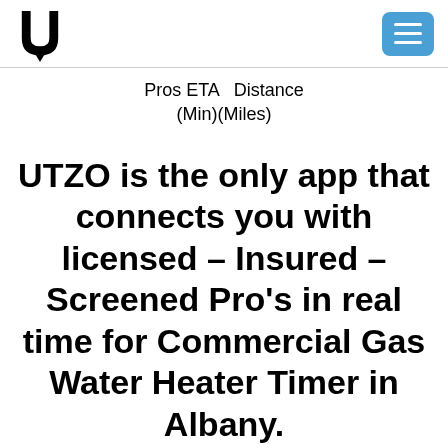UTZO logo and navigation menu
Pros ETA  Distance
(Min)(Miles)
UTZO is the only app that connects you with licensed – Insured – Screened Pro's in real time for Commercial Gas Water Heater Timer in Albany.